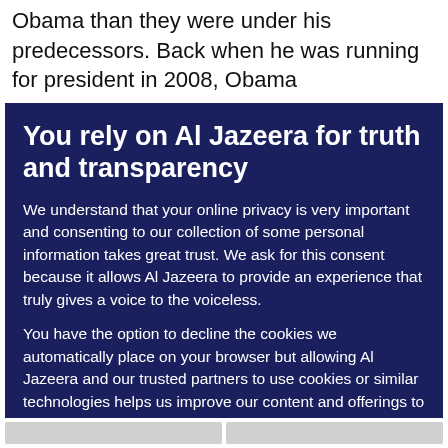Obama than they were under his predecessors. Back when he was running for president in 2008, Obama
You rely on Al Jazeera for truth and transparency
We understand that your online privacy is very important and consenting to our collection of some personal information takes great trust. We ask for this consent because it allows Al Jazeera to provide an experience that truly gives a voice to the voiceless.

You have the option to decline the cookies we automatically place on your browser but allowing Al Jazeera and our trusted partners to use cookies or similar technologies helps us improve our content and offerings to you. You can change your privacy preferences at any time by selecting ‘Cookie preferences’ at the bottom of your screen. To learn more, please view our Cookie Policy.